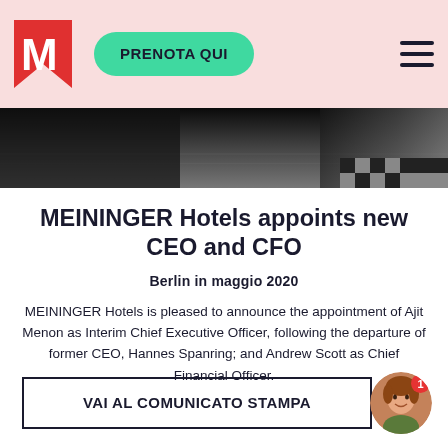PRENOTA QUI
[Figure (photo): Hotel interior photo showing dark lobby floor and architectural elements]
MEININGER Hotels appoints new CEO and CFO
Berlin in maggio 2020
MEININGER Hotels is pleased to announce the appointment of Ajit Menon as Interim Chief Executive Officer, following the departure of former CEO, Hannes Spanring; and Andrew Scott as Chief Financial Officer.
VAI AL COMUNICATO STAMPA